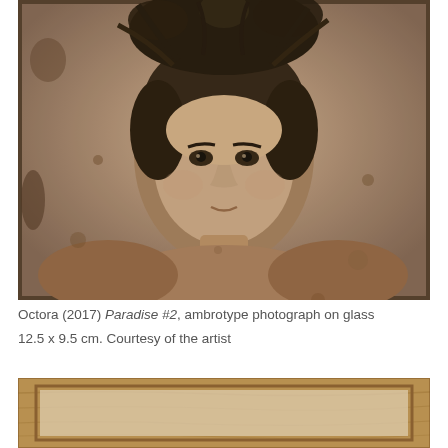[Figure (photo): Sepia-toned ambrotype portrait photograph of a young woman with a floral and feathered headdress, bare shoulders, looking directly at the camera. The photograph shows aging and patina typical of wet-plate collodion process.]
Octora (2017) Paradise #2, ambrotype photograph on glass 12.5 x 9.5 cm. Courtesy of the artist
[Figure (photo): Partial view of a wooden framed glass plate or ambrotype in a light wood frame, showing the bottom portion of the frame against a white background.]